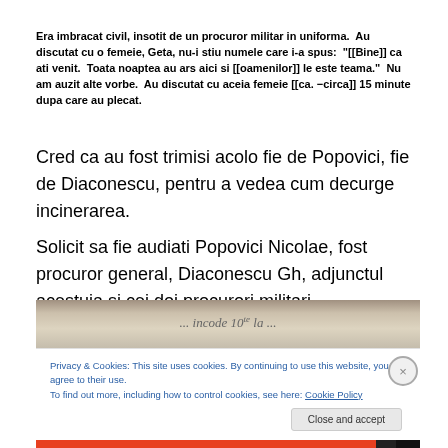Era imbracat civil, insotit de un procuror militar in uniforma. Au discutat cu o femeie, Geta, nu-i stiu numele care i-a spus: "[[Bine]] ca ati venit. Toata noaptea au ars aici si [[oamenilor]] le este teama." Nu am auzit alte vorbe. Au discutat cu aceia femeie [[ca. −circa]] 15 minute dupa care au plecat.
Cred ca au fost trimisi acolo fie de Popovici, fie de Diaconescu, pentru a vedea cum decurge incinerarea.
Solicit sa fie audiati Popovici Nicolae, fost procuror general, Diaconescu Gh, adjunctul acestuia si cei doi procurori militari…
[Figure (photo): Scanned handwritten document page showing cursive script text]
Privacy & Cookies: This site uses cookies. By continuing to use this website, you agree to their use. To find out more, including how to control cookies, see here: Cookie Policy
Close and accept